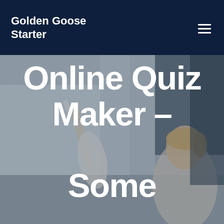Golden Goose Starter
[Figure (photo): Background photo of a woman in a white blazer writing or pointing at a surface, shown in a muted/desaturated style behind the headline text]
Online Quiz Maker – Some Simple But